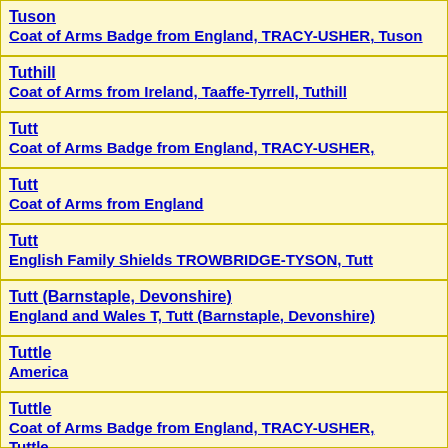Tuson
Coat of Arms Badge from England, TRACY-USHER, Tuson
Tuthill
Coat of Arms from Ireland, Taaffe-Tyrrell, Tuthill
Tutt
Coat of Arms Badge from England, TRACY-USHER,
Tutt
Coat of Arms from England
Tutt
English Family Shields TROWBRIDGE-TYSON, Tutt
Tutt (Barnstaple, Devonshire)
England and Wales T, Tutt (Barnstaple, Devonshire)
Tuttle
America
Tuttle
Coat of Arms Badge from England, TRACY-USHER, Tuttle